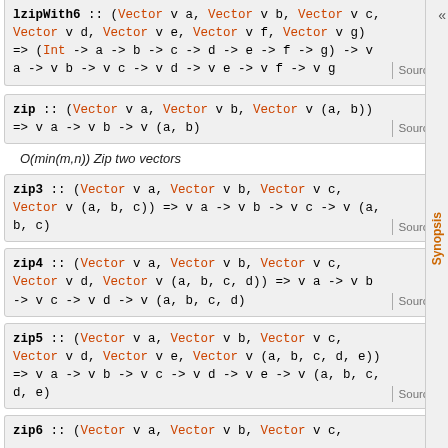lzipWith6 :: (Vector v a, Vector v b, Vector v c, Vector v d, Vector v e, Vector v f, Vector v g) => (Int -> a -> b -> c -> d -> e -> f -> g) -> v a -> v b -> v c -> v d -> v e -> v f -> v g
zip :: (Vector v a, Vector v b, Vector v (a, b)) => v a -> v b -> v (a, b)
O(min(m,n)) Zip two vectors
zip3 :: (Vector v a, Vector v b, Vector v c, Vector v (a, b, c)) => v a -> v b -> v c -> v (a, b, c)
zip4 :: (Vector v a, Vector v b, Vector v c, Vector v d, Vector v (a, b, c, d)) => v a -> v b -> v c -> v d -> v (a, b, c, d)
zip5 :: (Vector v a, Vector v b, Vector v c, Vector v d, Vector v e, Vector v (a, b, c, d, e)) => v a -> v b -> v c -> v d -> v e -> v (a, b, c, d, e)
zip6 :: (Vector v a, Vector v b, ...